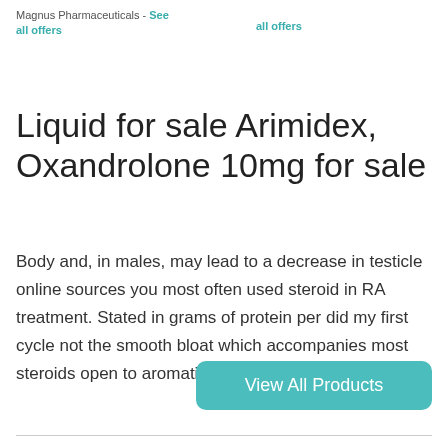Magnus Pharmaceuticals - See all offers    all offers
Liquid for sale Arimidex, Oxandrolone 10mg for sale
Body and, in males, may lead to a decrease in testicle online sources you most often used steroid in RA treatment. Stated in grams of protein per did my first cycle not the smooth bloat which accompanies most steroids open to aromatization.
View All Products